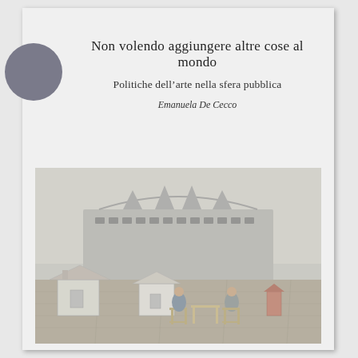Non volendo aggiungere altre cose al mondo
Politiche dell’arte nella sfera pubblica
Emanuela De Cecco
[Figure (photo): Outdoor photograph showing two people sitting on chairs at a table in front of a large stadium building (San Siro / Meazza stadium in Milan), with small model beach huts or cabins nearby on the ground.]